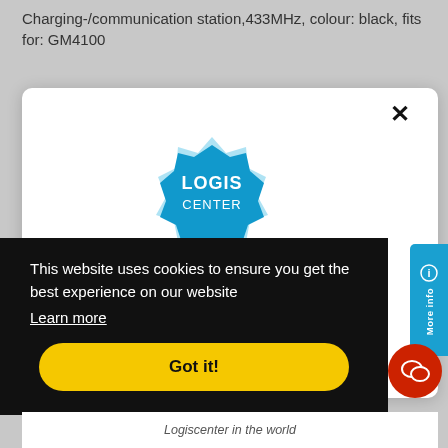Charging-/communication station,433MHz, colour: black, fits for: GM4100
[Figure (screenshot): White modal dialog box with Logis Center logo (blue badge shape with 'LOGIS CENTER' text in white), an X close button in top right, overlaid on a grey background. A black cookie consent banner is visible below with text and a yellow 'Got it!' button. A blue 'More info' tab and red chat icon button are on the right side. A white strip at the bottom shows 'Logiscenter in the world'.]